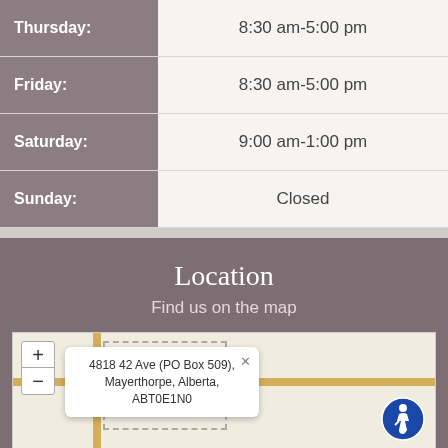| Day | Hours |
| --- | --- |
| Thursday: | 8:30 am-5:00 pm |
| Friday: | 8:30 am-5:00 pm |
| Saturday: | 9:00 am-1:00 pm |
| Sunday: | Closed |
Location
Find us on the map
[Figure (map): Interactive map showing location at 4818 42 Ave (PO Box 509), Mayerthorpe, Alberta, ABT0E1N0 with zoom controls and accessibility icon]